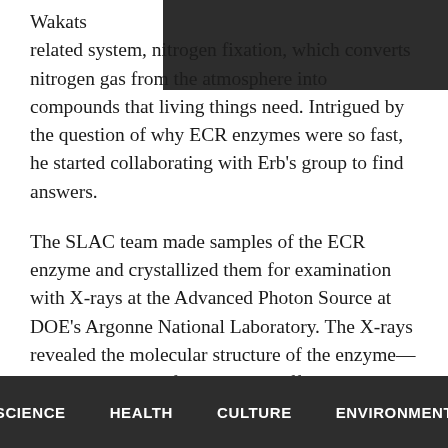Wakats[...] related system, nitrogen fixation, which converts nitrogen gas from the atmosphere into compounds that living things need. Intrigued by the question of why ECR enzymes were so fast, he started collaborating with Erb's group to find answers.
The SLAC team made samples of the ECR enzyme and crystallized them for examination with X-rays at the Advanced Photon Source at DOE's Argonne National Laboratory. The X-rays revealed the molecular structure of the enzyme—the arrangement of its atomic scaffolding—both on its own and when attached to a small helper molecule that facilitates its work.
SCIENCE   HEALTH   CULTURE   ENVIRONMENT